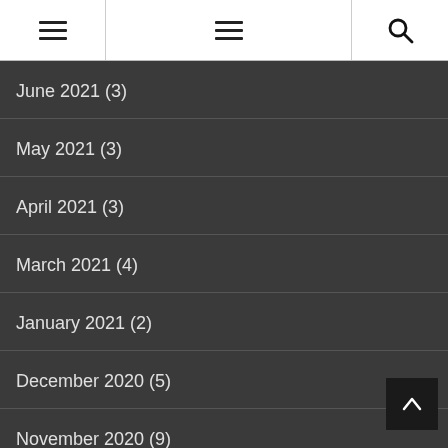Navigation header with hamburger menus and search icon
June 2021 (3)
May 2021 (3)
April 2021 (3)
March 2021 (4)
January 2021 (2)
December 2020 (5)
November 2020 (9)